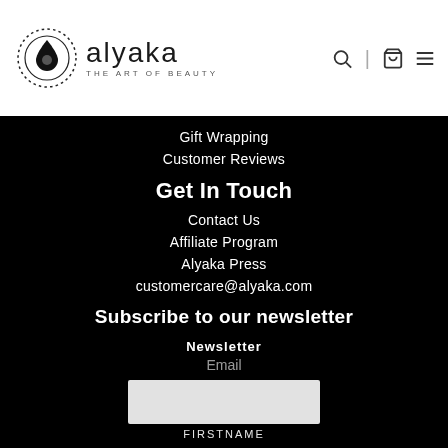[Figure (logo): Alyaka - The Art of Beauty logo with circular droplet icon]
Gift Wrapping
Customer Reviews
Get In Touch
Contact Us
Affiliate Program
Alyaka Press
customercare@alyaka.com
Subscribe to our newsletter
Newsletter
Email
FIRSTNAME